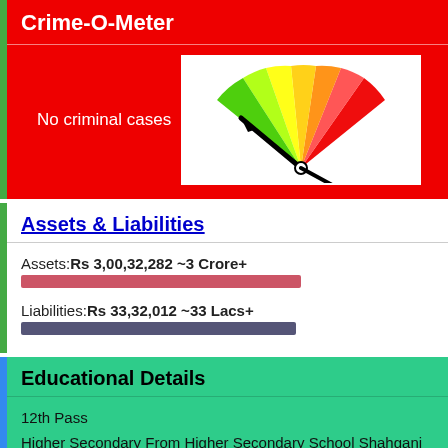Crime-O-Meter
No criminal cases
[Figure (other): Gauge/speedometer showing crime level with needle pointing to the low (green) end, colored arc from green to yellow to red]
Assets & Liabilities
Assets:Rs 3,00,32,282 ~3 Crore+
Liabilities:Rs 33,32,012 ~33 Lacs+
Educational Details
12th Pass
Higher Secondary From Higher Secondary School Shahganj Tehsil Budhani District Sehore In 1970